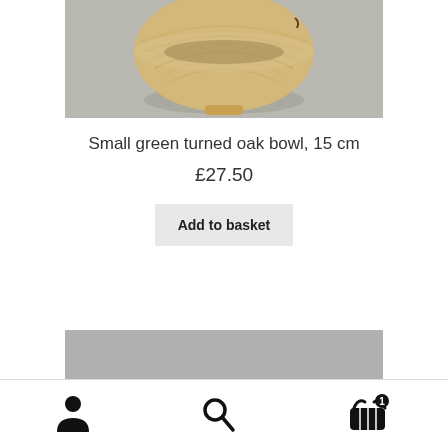[Figure (photo): Wooden turned oak bowl, light golden/tan color, sitting on a grey surface, viewed from slightly above and front]
Small green turned oak bowl, 15 cm
£27.50
Add to basket
[Figure (photo): Partially visible grey image or product photo at bottom of page]
Account | Search | Basket (1)